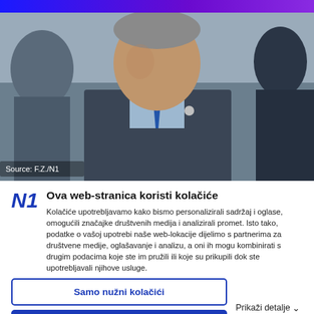[Figure (photo): News website screenshot showing a man in a dark suit with blue tie, photo credit Source: F.Z./N1]
Ova web-stranica koristi kolačiće
Kolačiće upotrebljavamo kako bismo personalizirali sadržaj i oglase, omogućili značajke društvenih medija i analizirali promet. Isto tako, podatke o vašoj upotrebi naše web-lokacije dijelimo s partnerima za društvene medije, oglašavanje i analizu, a oni ih mogu kombinirati s drugim podacima koje ste im pružili ili koje su prikupili dok ste upotrebljavali njihove usluge.
Samo nužni kolačići
Omogući sve kolačiće
Prikaži detalje